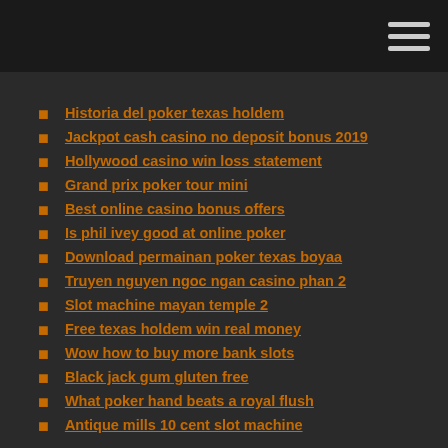Historia del poker texas holdem
Jackpot cash casino no deposit bonus 2019
Hollywood casino win loss statement
Grand prix poker tour mini
Best online casino bonus offers
Is phil ivey good at online poker
Download permainan poker texas boyaa
Truyen nguyen ngoc ngan casino phan 2
Slot machine mayan temple 2
Free texas holdem win real money
Wow how to buy more bank slots
Black jack gum gluten free
What poker hand beats a royal flush
Antique mills 10 cent slot machine